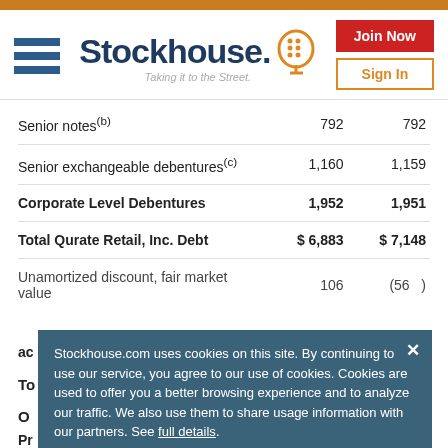[Figure (logo): Stockhouse logo with tagline 'Taking it to the Street.']
|  |  |  |
| --- | --- | --- |
| Senior notes(b) | 792 | 792 |
| Senior exchangeable debentures(c) | 1,160 | 1,159 |
| Corporate Level Debentures | 1,952 | 1,951 |
| Total Qurate Retail, Inc. Debt | $ 6,883 | $ 7,148 |
| Unamortized discount, fair market value | 106 | (56) |
| ac... |  |  |
| To... |  |  |
| O... |  |  |
| Pr... |  |  |
Stockhouse.com uses cookies on this site. By continuing to use our service, you agree to our use of cookies. Cookies are used to offer you a better browsing experience and to analyze our traffic. We also use them to share usage information with our partners. See full details.